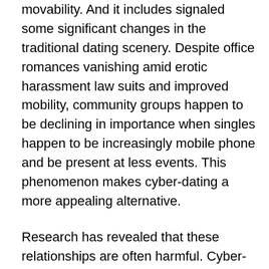movability. And it includes signaled some significant changes in the traditional dating scenery. Despite office romances vanishing amid erotic harassment law suits and improved mobility, community groups happen to be declining in importance when singles happen to be increasingly mobile phone and be present at less events. This phenomenon makes cyber-dating a more appealing alternative.
Research has revealed that these relationships are often harmful. Cyber-dating mistreat, or CDA, refers to employing technology applications to display oppressive behaviors. As the prevalence and nature of cyber dating maltreatment is not as yet clear, there is significant proof that a lot of relationships are at risk. The study authors admit women who take part in these types of associations may be at a higher risk for sexual assault. However , there is also a significant requirement of education and harm decrease therapies in this area.